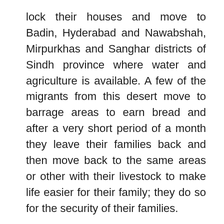lock their houses and move to Badin, Hyderabad and Nawabshah, Mirpurkhas and Sanghar districts of Sindh province where water and agriculture is available. A few of the migrants from this desert move to barrage areas to earn bread and after a very short period of a month they leave their families back and then move back to the same areas or other with their livestock to make life easier for their family; they do so for the security of their families.
As per statistics of residents by NGOs a total of 1.3 million people live in Tharparkar district in the areas which are close to Indian border where the life is too difficult with rains as well; there has always been an issue of less transportation, zero medical health facilities and of course